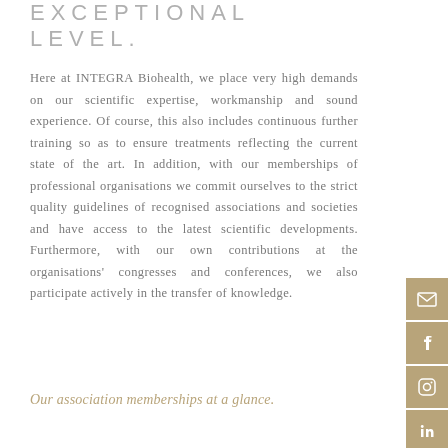EXCEPTIONAL LEVEL.
Here at INTEGRA Biohealth, we place very high demands on our scientific expertise, workmanship and sound experience. Of course, this also includes continuous further training so as to ensure treatments reflecting the current state of the art. In addition, with our memberships of professional organisations we commit ourselves to the strict quality guidelines of recognised associations and societies and have access to the latest scientific developments. Furthermore, with our own contributions at the organisations' congresses and conferences, we also participate actively in the transfer of knowledge.
Our association memberships at a glance.
[Figure (other): Social media icons column on right side: email/envelope icon, Facebook icon, Instagram icon, LinkedIn icon, YouTube icon — all with gold/tan background]